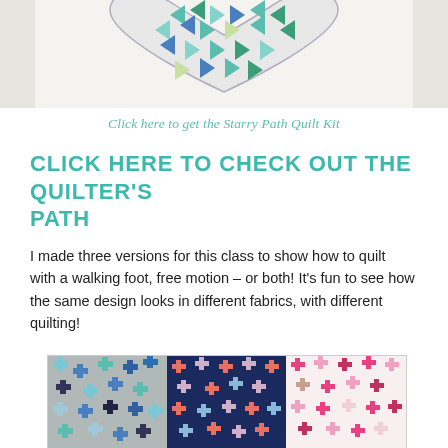[Figure (photo): Top portion of a heart-shaped quilt with teal, green, blue and white geometric triangular pattern on a light background, partially cropped at the bottom.]
Click here to get the Starry Path Quilt Kit
CLICK HERE TO CHECK OUT THE QUILTER'S PATH
I made three versions for this class to show how to quilt with a walking foot, free motion – or both! It's fun to see how the same design looks in different fabrics, with different quilting!
[Figure (photo): Three quilt versions side by side: left quilt has blue, teal, and gray cross/plus pattern; middle quilt has navy, coral, and light blue star/cross pattern; right quilt has pink, red, and white cross/plus pattern.]